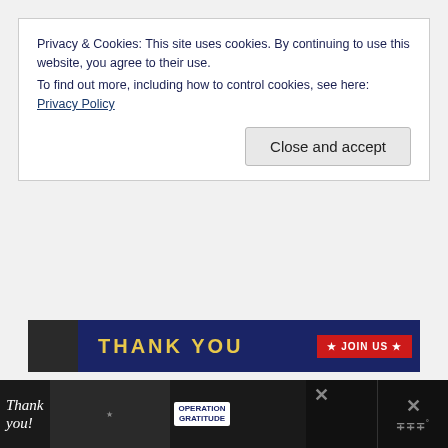Privacy & Cookies: This site uses cookies. By continuing to use this website, you agree to their use.
To find out more, including how to control cookies, see here: Privacy Policy
Close and accept
[Figure (screenshot): Partially visible blue banner ad with 'THANK YOU' text in yellow and a red 'JOIN US' button]
FLAWLESS
[Figure (other): Blue scroll-to-top button with upward chevron arrow]
FLEXIBILITY
[Figure (screenshot): Bottom advertisement bar showing 'Thank you!' handwriting with Operation Gratitude logo and people in uniform]